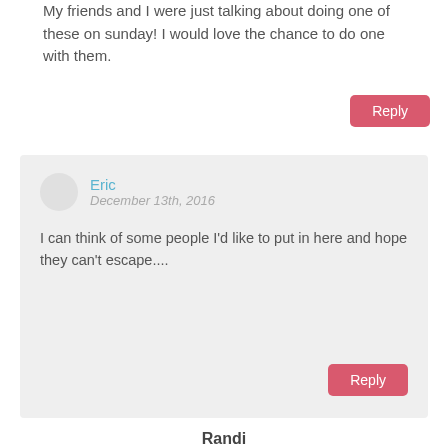My friends and I were just talking about doing one of these on sunday! I would love the chance to do one with them.
Reply
Eric
December 13th, 2016
I can think of some people I'd like to put in here and hope they can't escape....
Reply
Randi